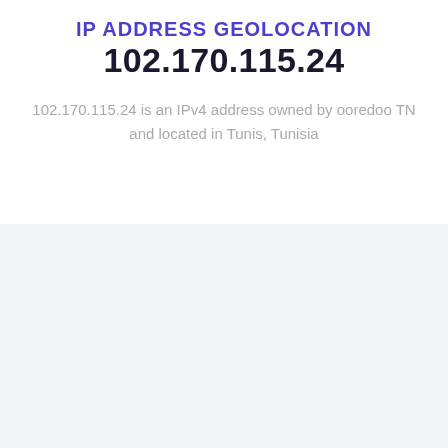IP ADDRESS GEOLOCATION
102.170.115.24
102.170.115.24 is an IPv4 address owned by ooredoo TN and located in Tunis, Tunisia